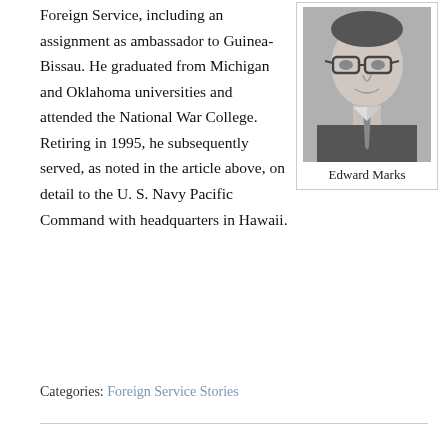Foreign Service, including an assignment as ambassador to Guinea-Bissau. He graduated from Michigan and Oklahoma universities and attended the National War College. Retiring in 1995, he subsequently served, as noted in the article above, on detail to the U. S. Navy Pacific Command with headquarters in Hawaii.
[Figure (photo): Black and white portrait photo of Edward Marks, a man wearing glasses, a suit, and tie.]
Edward Marks
Categories: Foreign Service Stories